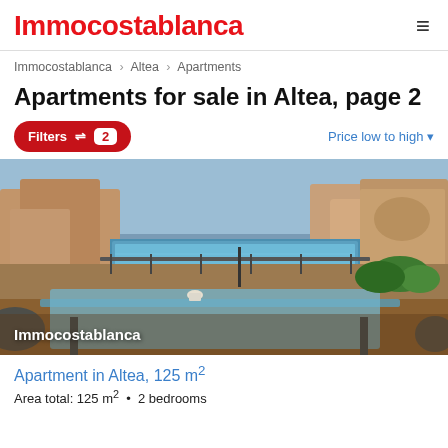Immocostablanca
Immocostablanca > Altea > Apartments
Apartments for sale in Altea, page 2
Filters 2   Price low to high
[Figure (photo): Outdoor terrace with table and chairs, swimming pool and residential buildings in background, with Immocostablanca watermark]
Apartment in Altea, 125 m²
Area total: 125 m²  •  2 bedrooms